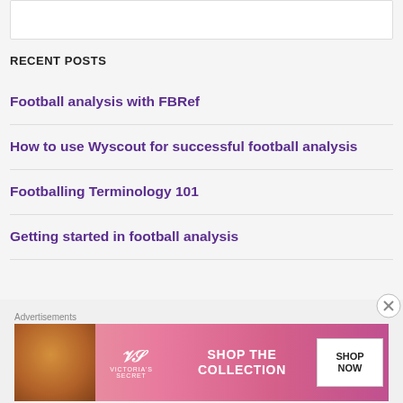[Figure (other): White input/search box at top of page]
RECENT POSTS
Football analysis with FBRef
How to use Wyscout for successful football analysis
Footballing Terminology 101
Getting started in football analysis
[Figure (photo): Victoria's Secret advertisement banner with woman's face, VS logo, SHOP THE COLLECTION text, and SHOP NOW button]